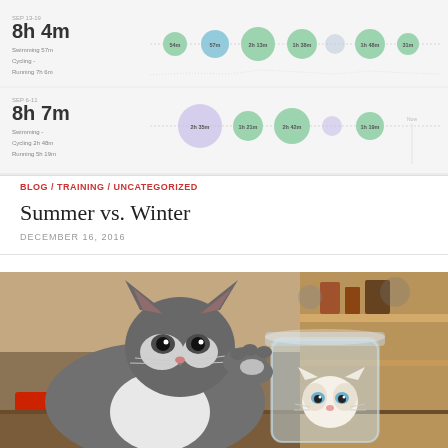[Figure (screenshot): Fitness tracking app screenshot showing two weeks of activity data. Week SEP 13-19: 8h 4m total (Swimming 57m, Cycling -, Running 7h 6m) with bubble timeline. Week SEP 6-11: 8h 7m total (Swimming -, Cycling 2h 48m, Running 5h 19m) with bubble timeline.]
BLOG / TRAINING / UNCATEGORIZED
Summer vs. Winter
DECEMBER 16, 2016
[Figure (photo): A gray and white cat reaching into a large glass jar that contains a small white kitten. The photo is taken indoors with shelves visible in the background.]